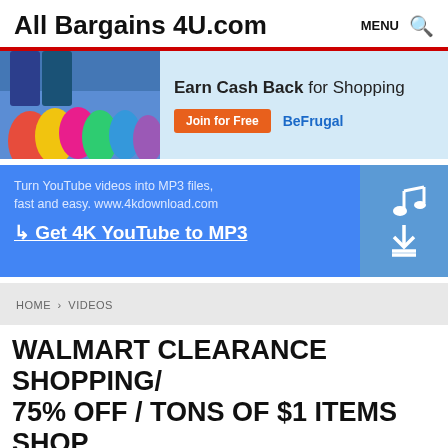All Bargains 4U.com  MENU 🔍
[Figure (infographic): BeFrugal cash back shopping advertisement with colorful shopping bags image on left. Text: Earn Cash Back for Shopping. Join for Free button and BeFrugal branding.]
[Figure (infographic): 4K Download advertisement on blue background. Text: Turn YouTube videos into MP3 files, fast and easy. www.4kdownload.com. Get 4K YouTube to MP3. Music note and download arrow icon on right side.]
HOME > VIDEOS
WALMART CLEARANCE SHOPPING/ 75% OFF / TONS OF $1 ITEMS SHOP WITH ME AND SAVE